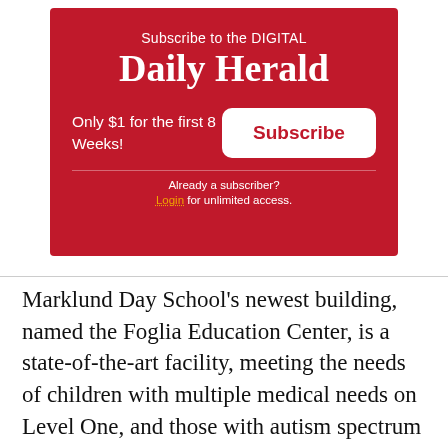[Figure (infographic): Daily Herald digital subscription advertisement on red background. Text reads: 'Subscribe to the DIGITAL Daily Herald. Only $1 for the first 8 Weeks!' with a white Subscribe button. Below a divider: 'Already a subscriber? Login for unlimited access.']
Marklund Day School's newest building, named the Foglia Education Center, is a state-of-the-art facility, meeting the needs of children with multiple medical needs on Level One, and those with autism spectrum disorders on Level Two. It